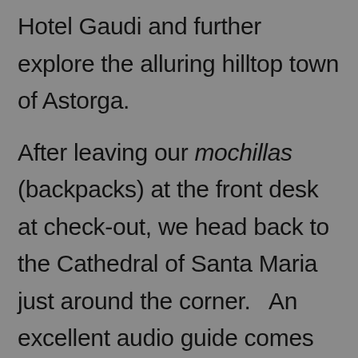Hotel Gaudi and further explore the alluring hilltop town of Astorga.

After leaving our mochillas (backpacks) at the front desk at check-out, we head back to the Cathedral of Santa Maria just around the corner.   An excellent audio guide comes with the price of admission, and I'm glad it starts you outside to appreciate the façade of